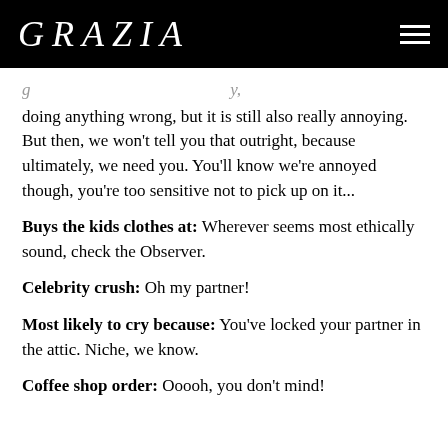GRAZIA
doing anything wrong, but it is still also really annoying. But then, we won't tell you that outright, because ultimately, we need you. You'll know we're annoyed though, you're too sensitive not to pick up on it...
Buys the kids clothes at: Wherever seems most ethically sound, check the Observer.
Celebrity crush: Oh my partner!
Most likely to cry because: You've locked your partner in the attic. Niche, we know.
Coffee shop order: Ooooh, you don't mind!